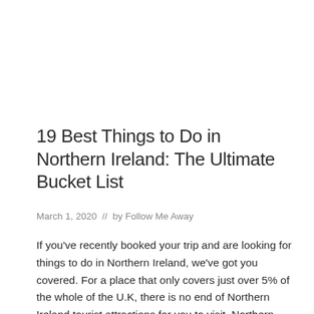19 Best Things to Do in Northern Ireland: The Ultimate Bucket List
March 1, 2020  //  by Follow Me Away
If you've recently booked your trip and are looking for things to do in Northern Ireland, we've got you covered. For a place that only covers just over 5% of the whole of the U.K, there is no end of Northern Ireland tourist attractions for you to visit. Northern Ireland has been aptly named 'Game ...